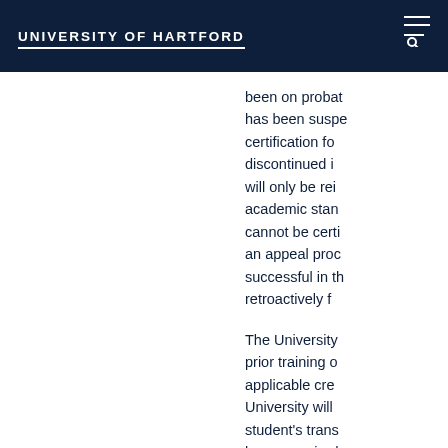UNIVERSITY OF HARTFORD
been on probation has been suspended certification for discontinued in will only be reinm academic stand cannot be certif an appeal proce successful in the retroactively fo
The University o prior training on applicable cred University will b student's transc hours required t potentially decr